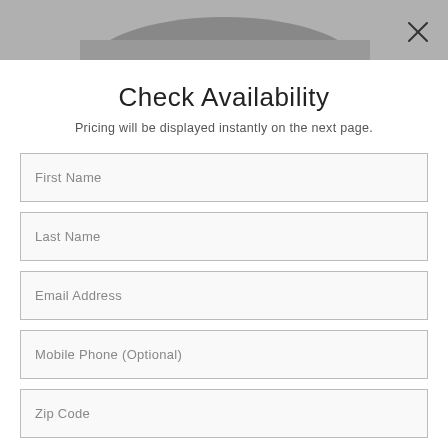[Figure (photo): Top portion of a car photo visible at the top of the modal dialog, shown in grayscale]
Check Availability
Pricing will be displayed instantly on the next page.
First Name
Last Name
Email Address
Mobile Phone (Optional)
Zip Code